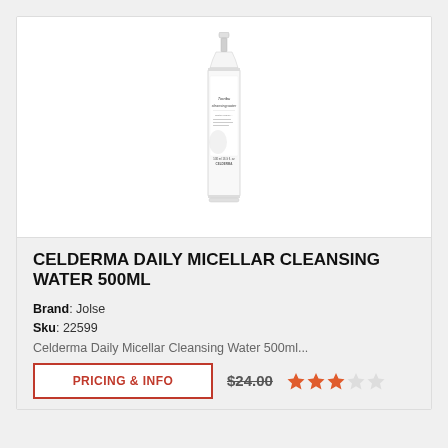[Figure (photo): A tall slim bottle of Celderma Daily Micellar Cleansing Water 500ml with white/clear packaging and pump top]
CELDERMA DAILY MICELLAR CLEANSING WATER 500ML
Brand: Jolse
Sku: 22599
Celderma Daily Micellar Cleansing Water 500ml...
PRICING & INFO
$24.00